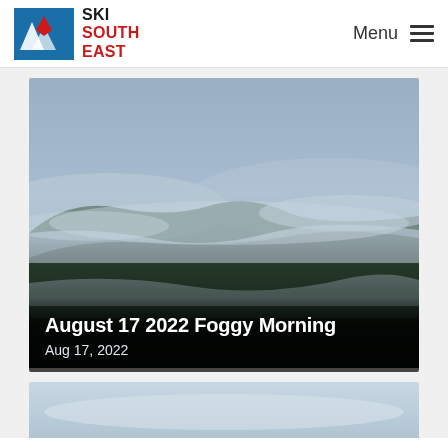SKI SOUTH EAST — Menu
[Figure (photo): Foggy mountain landscape with green forested hills and low-hanging clouds in shades of grey-blue, viewed from above.]
August 17 2022 Foggy Morning
Aug 17, 2022
[Figure (photo): Partial view of a second photo card showing a pale blue-grey sky, cropped at the bottom of the page.]